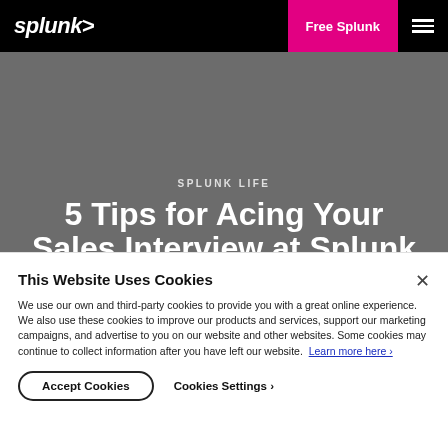splunk> | Free Splunk | ☰
SPLUNK LIFE
5 Tips for Acing Your Sales Interview at Splunk
This Website Uses Cookies
We use our own and third-party cookies to provide you with a great online experience. We also use these cookies to improve our products and services, support our marketing campaigns, and advertise to you on our website and other websites. Some cookies may continue to collect information after you have left our website. Learn more here ›
Accept Cookies | Cookies Settings ›